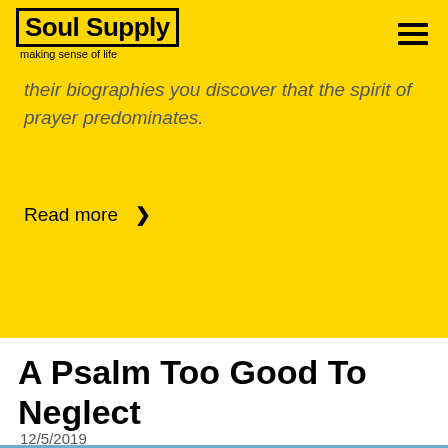Soul Supply — making sense of life
their biographies you discover that the spirit of prayer predominates.
Read more ›
A Psalm Too Good To Neglect
12/5/2019